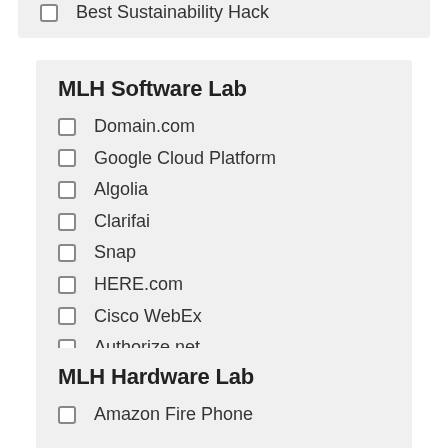Best Sustainability Hack
MLH Software Lab
Domain.com
Google Cloud Platform
Algolia
Clarifai
Snap
HERE.com
Cisco WebEx
Authorize.net
MLH Hardware Lab
Amazon Fire Phone